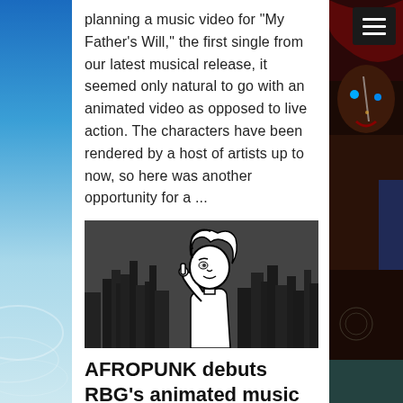planning a music video for "My Father's Will," the first single from our latest musical release, it seemed only natural to go with an animated video as opposed to live action. The characters have been rendered by a host of artists up to now, so here was another opportunity for a ...
[Figure (illustration): Black and white animated illustration of a white-haired animated female character in front of a city skyline, finger raised to chin in a thinking pose]
AFROPUNK debuts RBG's animated music video "MY